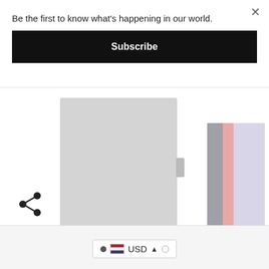Be the first to know what's happening in our world.
Subscribe
[Figure (screenshot): Two product images: a light gray notebook/journal cover on the left, and an open journal showing pink and lavender pages on the right.]
[Figure (illustration): Share icon (three connected dots)]
USD